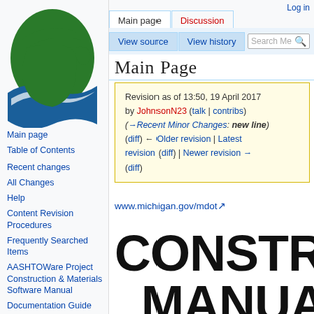Log in
[Figure (logo): Michigan state logo with green mitten map and blue wave]
Main page
Table of Contents
Recent changes
All Changes
Help
Content Revision Procedures
Frequently Searched Items
AASHTOWare Project Construction & Materials Software Manual
Documentation Guide
Division 1
Division 1 Supplemental
Main Page
Revision as of 13:50, 19 April 2017 by JohnsonN23 (talk | contribs) (→Recent Minor Changes: new line) (diff) ← Older revision | Latest revision (diff) | Newer revision → (diff)
www.michigan.gov/mdot
CONSTRUCTION MANUAL